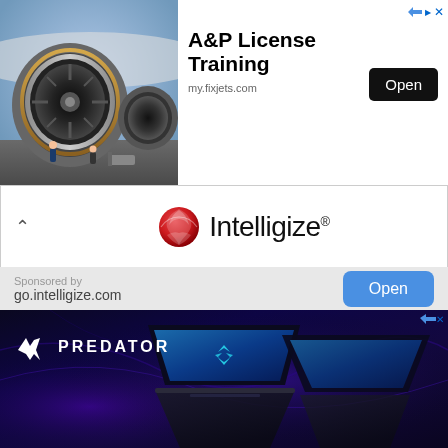[Figure (screenshot): Top advertisement banner for A&P License Training at my.fixjets.com, showing jet engine image on left and text with Open button on right]
[Figure (screenshot): Middle advertisement banner for Intelligize showing logo with red globe icon and 'Intelligize' text, with sponsored by go.intelligize.com and blue Open button]
Install the game .apk file just like you used to install any other .apk files.
[Figure (screenshot): Bottom advertisement banner for Acer Predator gaming laptop on dark blue/purple background with Predator logo and laptop image]